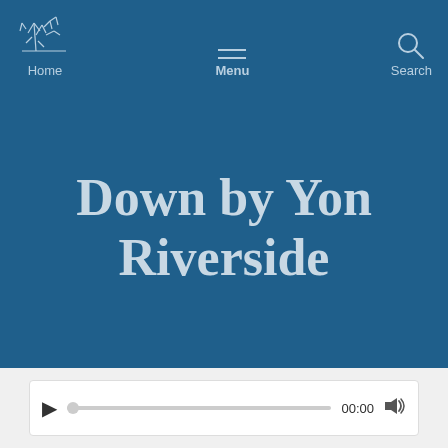[Figure (screenshot): Website navigation bar on dark blue background with botanical illustration logo and Home label on left, hamburger menu icon and Menu label in center, search icon and Search label on right]
Down by Yon Riverside
[Figure (other): Audio player widget with play button, progress bar, 00:00 time display, and volume icon on white background]